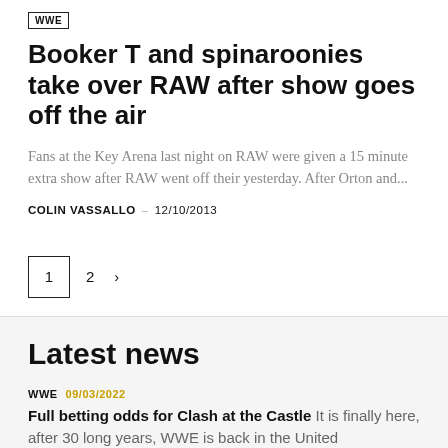WWE
Booker T and spinaroonies take over RAW after show goes off the air
Fans at the Key Arena last night on RAW were given a 15 minute extra show after RAW went off their yesterday. After Orton and...
COLIN VASSALLO · 12/10/2013
1 2 >
Latest news
WWE 09/03/2022
Full betting odds for Clash at the Castle It is finally here, after 30 long years, WWE is back in the United